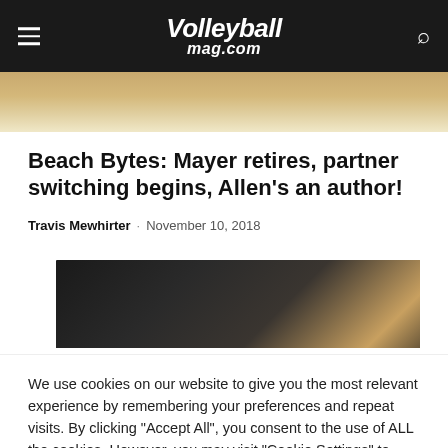Volleyballmag.com
[Figure (photo): Partial hero image of volleyball players at top of page]
Beach Bytes: Mayer retires, partner switching begins, Allen’s an author!
Travis Mewhirter · November 10, 2018
[Figure (photo): Dark moody photo, possibly of a book or outdoor scene at dusk]
We use cookies on our website to give you the most relevant experience by remembering your preferences and repeat visits. By clicking “Accept All”, you consent to the use of ALL the cookies. However, you may visit "Cookie Settings" to provide a controlled consent.